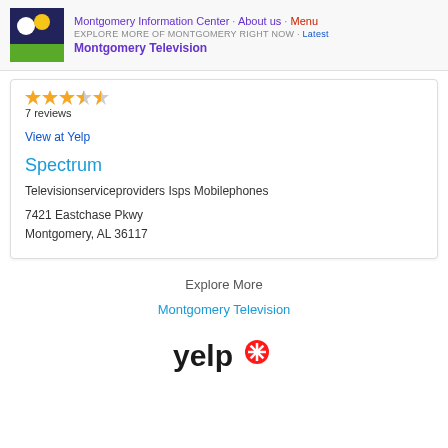Montgomery Information Center · About us · Menu
EXPLORE MORE OF MONTGOMERY RIGHT NOW · Latest
Montgomery Television
[Figure (logo): Montgomery Information Center logo: dark blue square with white circle and yellow/green accents]
7 reviews
View at Yelp
Spectrum
Televisionserviceproviders Isps Mobilephones
7421 Eastchase Pkwy
Montgomery, AL 36117
Explore More
Montgomery Television
[Figure (logo): Yelp logo in black text with red burst/asterisk icon]